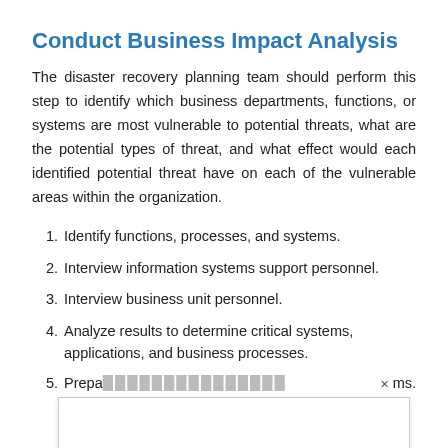Conduct Business Impact Analysis
The disaster recovery planning team should perform this step to identify which business departments, functions, or systems are most vulnerable to potential threats, what are the potential types of threat, and what effect would each identified potential threat have on each of the vulnerable areas within the organization.
1. Identify functions, processes, and systems.
2. Interview information systems support personnel.
3. Interview business unit personnel.
4. Analyze results to determine critical systems, applications, and business processes.
5. Prepa[...truncated/obscured by popup...]ms.